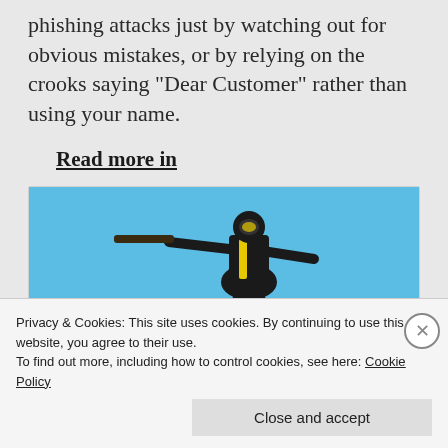phishing attacks just by watching out for obvious mistakes, or by relying on the crooks saying “Dear Customer” rather than using your name.
Read more in
[Figure (illustration): Illustration of a figure in black and yellow suit holding a weapon, against a blue sky background]
5 tips to avoid spear-phishing
Privacy & Cookies: This site uses cookies. By continuing to use this website, you agree to their use.
To find out more, including how to control cookies, see here: Cookie Policy
Close and accept